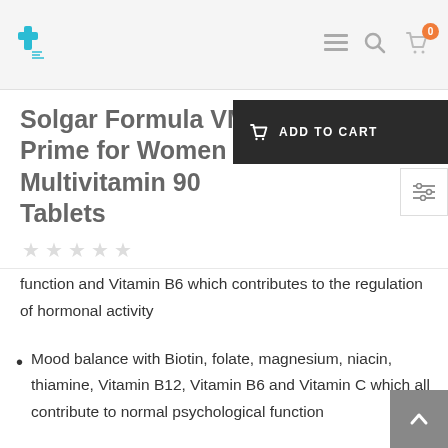[Figure (logo): Pharmacy/medical cross logo in teal/cyan color with small text below]
Solgar Formula VM-Prime for Women Multivitamin 90 Tablets
★★★★★ (empty star rating)
function and Vitamin B6 which contributes to the regulation of hormonal activity
Mood balance with Biotin, folate, magnesium, niacin, thiamine, Vitamin B12, Vitamin B6 and Vitamin C which all contribute to normal psychological function
Vision with Zinc, Vitamin B2 which contribute to the